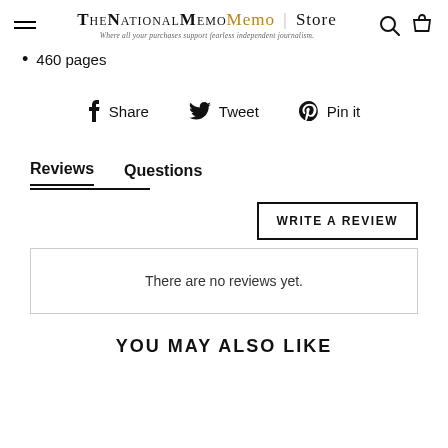TheNationalMemo | Store — Where all your purchases support fearless independent journalism.
460 pages
Share   Tweet   Pin it
Reviews   Questions
WRITE A REVIEW
There are no reviews yet.
YOU MAY ALSO LIKE